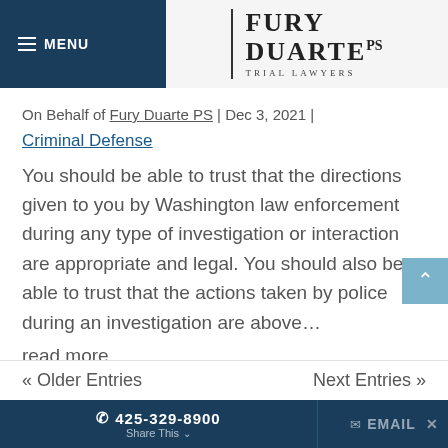MENU | FURY DUARTE PS TRIAL LAWYERS
On Behalf of Fury Duarte PS | Dec 3, 2021 | Criminal Defense
You should be able to trust that the directions given to you by Washington law enforcement during any type of investigation or interaction are appropriate and legal. You should also be able to trust that the actions taken by police during an investigation are above…
read more
« Older Entries   Next Entries »   ☎ 425-329-8900   Share This   EMAIL   ✕